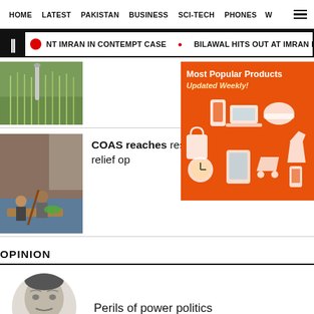HOME  LATEST  PAKISTAN  BUSINESS  SCI-TECH  PHONES  W
NT IMRAN IN CONTEMPT CASE  BILAWAL HITS OUT AT IMRAN FOR HOLDING PUB
[Figure (photo): Rice paddy field with irrigation pipe]
[Figure (infographic): Orange advertisement banner: Most Popular Products, Updated Weekly! with product icons]
[Figure (photo): People on a raft or boat in flooded area]
COAS reaches rescue, relief op
OPINION
[Figure (photo): Black and white portrait photo of a man]
Perils of power politics